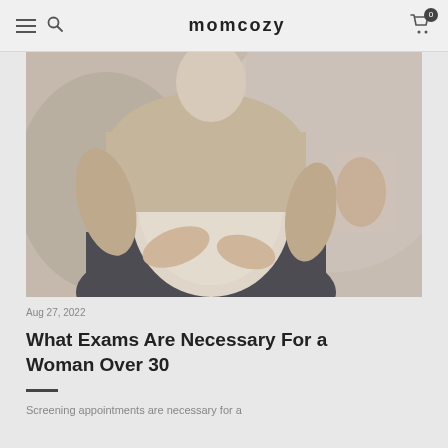momcozy
[Figure (photo): A pregnant woman in a beige cardigan sitting down, cradling her belly with both hands. Another person's hand is visible in the blurred background, holding a document or paper.]
Aug 27, 2022
What Exams Are Necessary For a Woman Over 30
Screening appointments are necessary for a